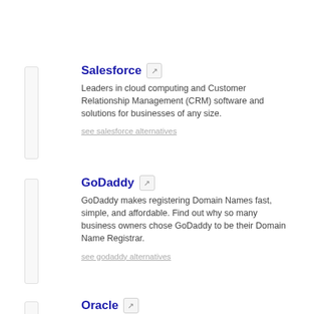Salesforce
Leaders in cloud computing and Customer Relationship Management (CRM) software and solutions for businesses of any size.
see salesforce alternatives
GoDaddy
GoDaddy makes registering Domain Names fast, simple, and affordable. Find out why so many business owners chose GoDaddy to be their Domain Name Registrar.
see godaddy alternatives
Oracle
Oracle offers a comprehensive and fully integrated stack of cloud applications and platform services.
see oracle alternatives